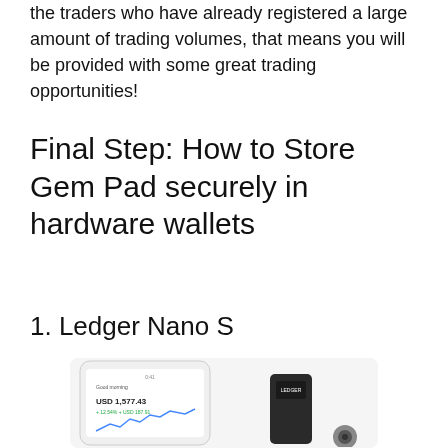the traders who have already registered a large amount of trading volumes, that means you will be provided with some great trading opportunities!
Final Step: How to Store Gem Pad securely in hardware wallets
1. Ledger Nano S
[Figure (photo): Photo of a Ledger Nano S hardware wallet next to a smartphone showing the Ledger Live app with USD 1,577.43 balance and a line chart]